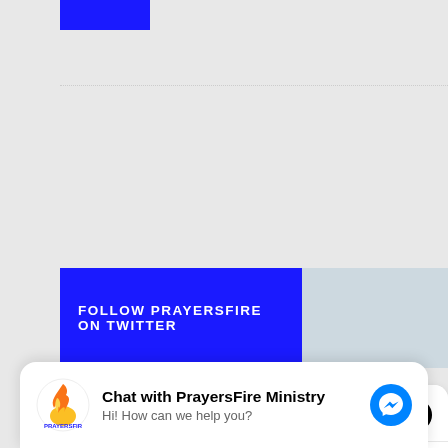[Figure (screenshot): Blue rectangular block at top of page]
[Figure (screenshot): Twitter follow banner with blue left section reading FOLLOW PRAYERSFIRE ON TWITTER and light blue right section]
[Figure (screenshot): Twitter widget card showing Tweets from @prayersfire with Follow button, and a tweet from PrayersFire @prayersfire Sep 1 about Prayers for September BIRTHDAYS in 2022 with link prayersfire.com/2022/09/01/pra...]
[Figure (screenshot): Chat popup at bottom: Chat with PrayersFire Ministry - Hi! How can we help you? with PrayersFire logo and Facebook Messenger icon]